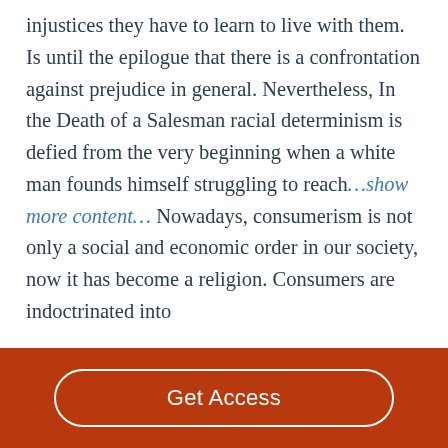injustices they have to learn to live with them. Is until the epilogue that there is a confrontation against prejudice in general. Nevertheless, In the Death of a Salesman racial determinism is defied from the very beginning when a white man founds himself struggling to reach…show more content… Nowadays, consumerism is not only a social and economic order in our society, now it has become a religion. Consumers are indoctrinated into
Get Access